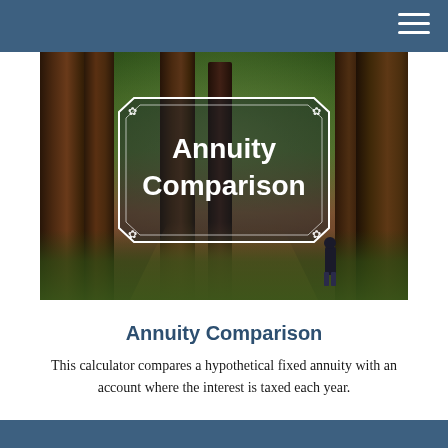[Figure (photo): Forest scene with tall redwood trees, ferns and undergrowth, a dirt path, and a person standing in the background. Overlaid with a decorative banner reading 'Annuity Comparison'.]
Annuity Comparison
This calculator compares a hypothetical fixed annuity with an account where the interest is taxed each year.